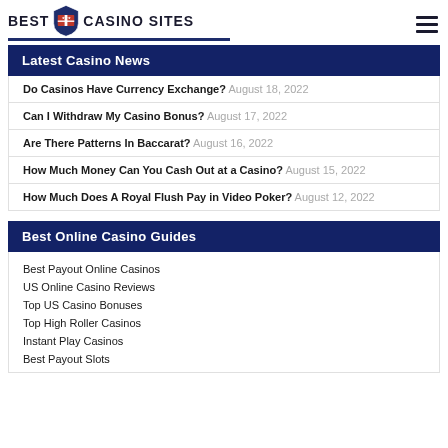BEST USA CASINO SITES
Latest Casino News
Do Casinos Have Currency Exchange? August 18, 2022
Can I Withdraw My Casino Bonus? August 17, 2022
Are There Patterns In Baccarat? August 16, 2022
How Much Money Can You Cash Out at a Casino? August 15, 2022
How Much Does A Royal Flush Pay in Video Poker? August 12, 2022
Best Online Casino Guides
Best Payout Online Casinos
US Online Casino Reviews
Top US Casino Bonuses
Top High Roller Casinos
Instant Play Casinos
Best Payout Slots